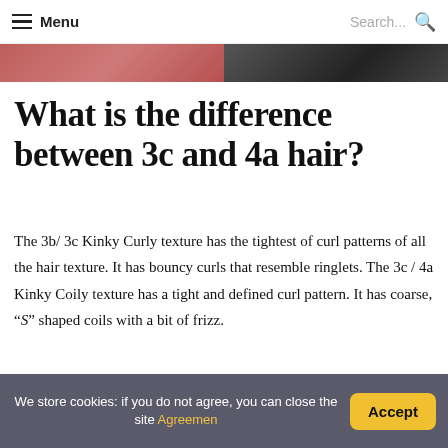Menu  Search...
[Figure (photo): Cropped hero image showing hair textures — red/auburn hair on the left half, dark/black hair on the right half]
What is the difference between 3c and 4a hair?
The 3b/ 3c Kinky Curly texture has the tightest of curl patterns of all the hair texture. It has bouncy curls that resemble ringlets. The 3c / 4a Kinky Coily texture has a tight and defined curl pattern. It has coarse, “S” shaped coils with a bit of frizz.
[Blockquote / pull-quote section partially visible]
We store cookies: if you do not agree, you can close the site Agreemen  Accept